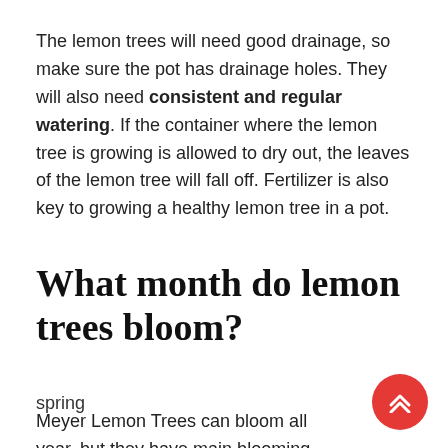The lemon trees will need good drainage, so make sure the pot has drainage holes. They will also need consistent and regular watering. If the container where the lemon tree is growing is allowed to dry out, the leaves of the lemon tree will fall off. Fertilizer is also key to growing a healthy lemon tree in a pot.
What month do lemon trees bloom?
spring
Meyer Lemon Trees can bloom all year, but they have main blooming times: fall and early spring. If they bloom